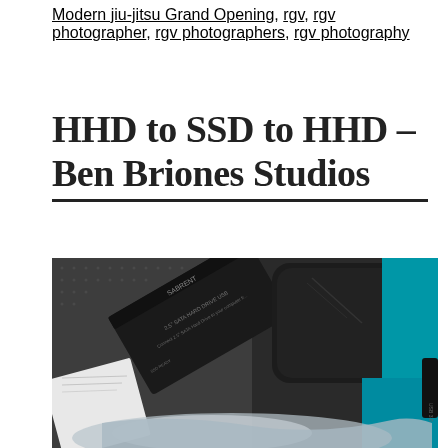Modern jiu-jitsu Grand Opening, rgv, rgv photographer, rgv photographers, rgv photography
HHD to SSD to HHD – Ben Briones Studios
[Figure (photo): Photo of computer hardware including a SABRENT 2.5 inch SATA Hard Drive USB enclosure box, a dark hard drive, and items wrapped in plastic packaging on a textured surface with teal/blue background.]